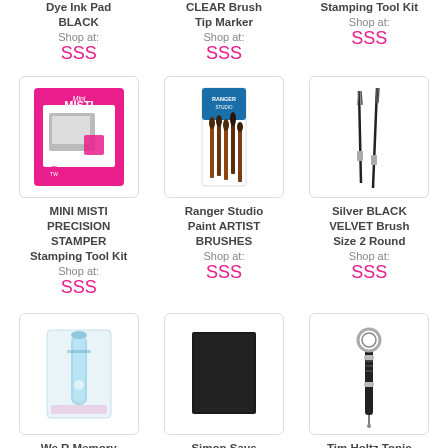Dye Ink Pad BLACK
Shop at:
SSS
CLEAR Brush Tip Marker
Shop at:
SSS
Stamping Tool Kit
Shop at:
SSS
[Figure (photo): Mini MISTI precision stamper product package — pink box with stamping tool]
MINI MISTI PRECISION STAMPER Stamping Tool Kit
Shop at:
SSS
[Figure (photo): Ranger Studio Paint Artist Brushes set in blue packaging]
Ranger Studio Paint ARTIST BRUSHES
Shop at:
SSS
[Figure (photo): Silver BLACK VELVET Brush Size 2 Round — two thin artist brushes]
Silver BLACK VELVET Brush Size 2 Round
Shop at:
SSS
[Figure (photo): We R Memory craft tool in light blue packaging]
We R Memory
[Figure (photo): Simon Says Stamp — dark black card/paper]
Simon Says
[Figure (photo): Tim Holtz Tonic tool — black handled precision tool with round loop end]
Tim Holtz Tonic